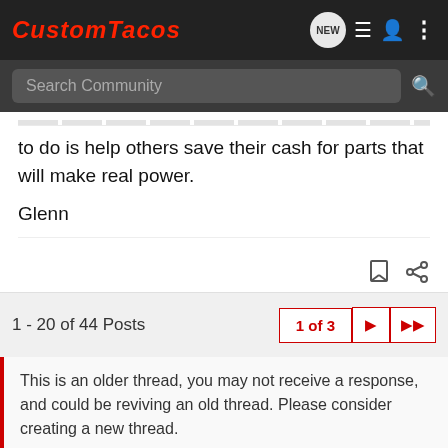CustomTacos
to do is help others save their cash for parts that will make real power.

Glenn
1 - 20 of 44 Posts
1 of 3
This is an older thread, you may not receive a response, and could be reviving an old thread. Please consider creating a new thread.
[Figure (screenshot): Chevrolet advertisement banner for The New 2022 Silverado with Explore button and Chevrolet logo]